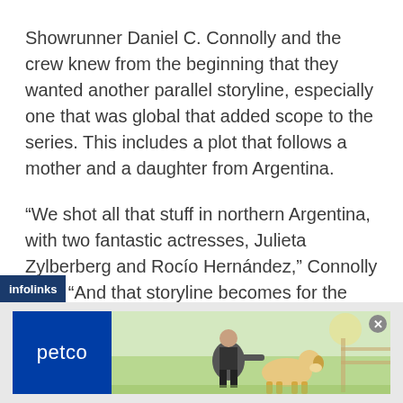Showrunner Daniel C. Connolly and the crew knew from the beginning that they wanted another parallel storyline, especially one that was global that added scope to the series. This includes a plot that follows a mother and a daughter from Argentina.
“We shot all that stuff in northern Argentina, with two fantastic actresses, Julieta Zylberberg and Rocío Hernández,” Connolly said. “And that storyline becomes for the audience another point of view into the mythology of these chambers. And that mother and daughter have a much different relationship to it and have a deeper knowledge of it than the Yorks do. So it’s serving a narrative purpose for us to sort of have the
[Figure (screenshot): Petco advertisement banner with logo on left (dark blue background with white 'petco' text) and image of woman with dog on right (outdoor grassy setting).]